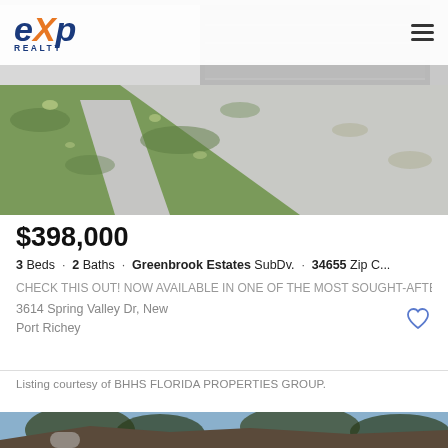eXp REALTY
[Figure (photo): Exterior view of a residential home driveway and lawn with sunlight and trees]
$398,000
3 Beds · 2 Baths · Greenbrook Estates SubDv. · 34655 Zip C...
CHECK THIS OUT! NOW AVAILABLE IN ONE OF THE MOST SOUGHT-AFTE...
3614 Spring Valley Dr, New Port Richey
Listing courtesy of BHHS FLORIDA PROPERTIES GROUP.
[Figure (photo): Exterior view of house roof and trees against blue sky]